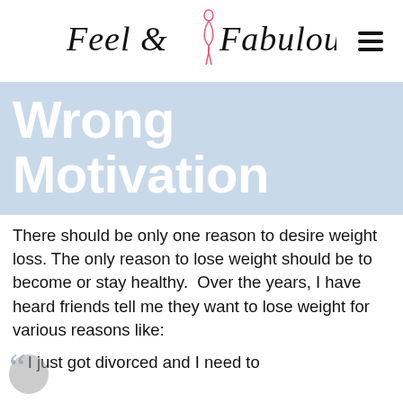Feel & Look Fabulous
Wrong Motivation
There should be only one reason to desire weight loss. The only reason to lose weight should be to become or stay healthy.  Over the years, I have heard friends tell me they want to lose weight for various reasons like:
I just got divorced and I need to